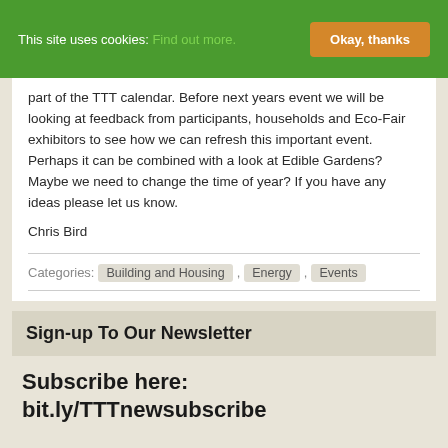This site uses cookies: Find out more. Okay, thanks
part of the TTT calendar. Before next years event we will be looking at feedback from participants, households and Eco-Fair exhibitors to see how we can refresh this important event. Perhaps it can be combined with a look at Edible Gardens? Maybe we need to change the time of year? If you have any ideas please let us know.
Chris Bird
Categories: Building and Housing , Energy , Events
Sign-up To Our Newsletter
Subscribe here: bit.ly/TTTnewsubscribe